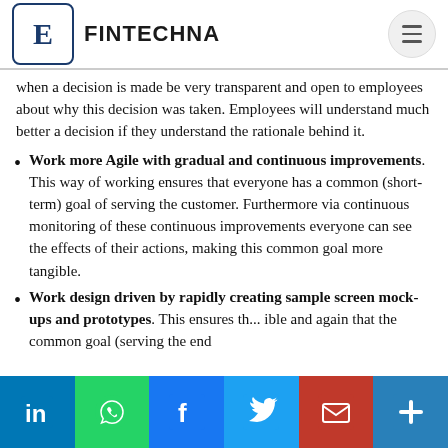FINTECHNA
when a decision is made be very transparent and open to employees about why this decision was taken. Employees will understand much better a decision if they understand the rationale behind it.
Work more Agile with gradual and continuous improvements. This way of working ensures that everyone has a common (short-term) goal of serving the customer. Furthermore via continuous monitoring of these continuous improvements everyone can see the effects of their actions, making this common goal more tangible.
Work design driven by rapidly creating sample screen mock-ups and prototypes. This ensures th... and again that the common goal (serving the end...